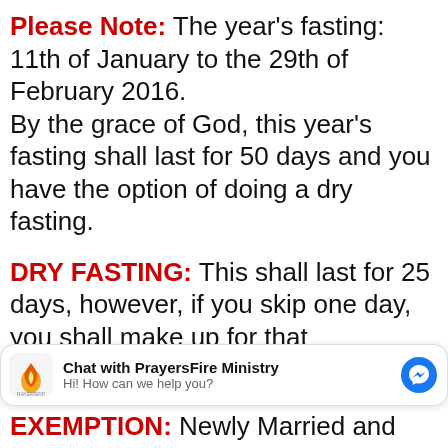Please Note: The year's fasting: 11th of January to the 29th of February 2016. By the grace of God, this year's fasting shall last for 50 days and you have the option of doing a dry fasting.
DRY FASTING: This shall last for 25 days, however, if you skip one day, you shall make up for that
[Figure (screenshot): Chat widget overlay: PrayersFire Ministry logo, 'Chat with PrayersFire Ministry', 'Hi! How can we help you?', and Messenger icon]
EXEMPTION: Newly Married and